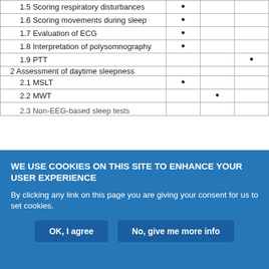| Topic | Col1 | Col2 | Col3 |
| --- | --- | --- | --- |
| 1.5 Scoring respiratory disturbances | • |  |  |
| 1.6 Scoring movements during sleep | • |  |  |
| 1.7 Evaluation of ECG | • |  |  |
| 1.8 Interpretation of polysomnography | • |  |  |
| 1.9 PTT |  |  | • |
| 2 Assessment of daytime sleepness |  |  |  |
| 2.1 MSLT | • |  |  |
| 2.2 MWT |  | • |  |
| 2.3 Non-EEG-based sleep tests |  |  |  |
WE USE COOKIES ON THIS SITE TO ENHANCE YOUR USER EXPERIENCE
By clicking any link on this page you are giving your consent for us to set cookies.